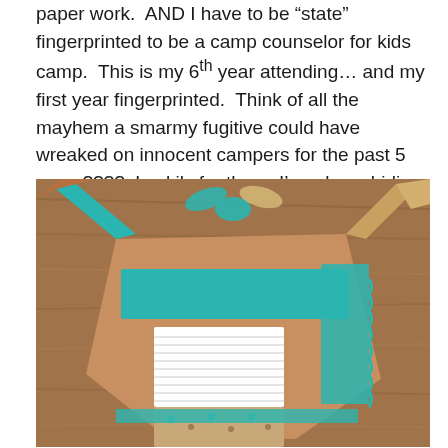paper work.  AND I have to be “state” fingerprinted to be a camp counselor for kids camp.  This is my 6th year attending… and my first year fingerprinted.  Think of all the mayhem a smarmy fugitive could have wreaked on innocent campers for the past 5 years????  Luckily for them, I’m a law-abiding, God-fearing mom.
[Figure (photo): A handmade fabric tote bag or sling bag lying on a wooden surface. The bag is made of brown/tan fabric with turquoise/teal accents, a white striped panel, and a floral fabric panel. Straps are tied in a bow at the top.]